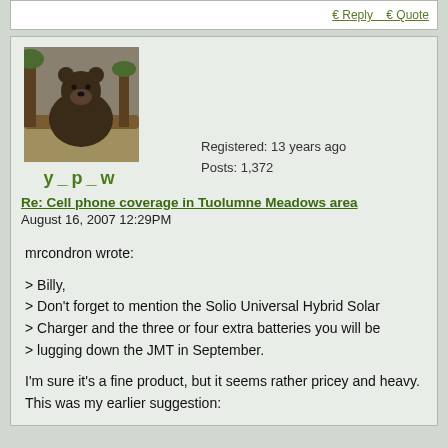[Figure (screenshot): Top bar with Reply and Quote links]
[Figure (photo): Bear avatar photo for user y_p_w]
y_p_w
Registered: 13 years ago
Posts: 1,372
Re: Cell phone coverage in Tuolumne Meadows area
August 16, 2007 12:29PM
mrcondron wrote:

> Billy,
> Don't forget to mention the Solio Universal Hybrid Solar
> Charger and the three or four extra batteries you will be
> lugging down the JMT in September.

I'm sure it's a fine product, but it seems rather pricey and heavy. This was my earlier suggestion: